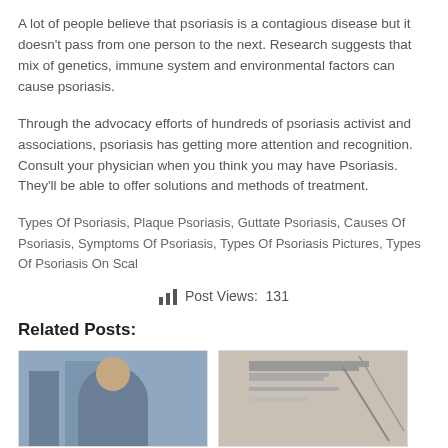A lot of people believe that psoriasis is a contagious disease but it doesn't pass from one person to the next. Research suggests that mix of genetics, immune system and environmental factors can cause psoriasis.
Through the advocacy efforts of hundreds of psoriasis activist and associations, psoriasis has getting more attention and recognition. Consult your physician when you think you may have Psoriasis. They'll be able to offer solutions and methods of treatment.
Types Of Psoriasis, Plaque Psoriasis, Guttate Psoriasis, Causes Of Psoriasis, Symptoms Of Psoriasis, Types Of Psoriasis Pictures, Types Of Psoriasis On Scal
Post Views: 131
Related Posts:
[Figure (photo): Photo of a person (left related post thumbnail)]
[Figure (photo): Abstract/document image (right related post thumbnail)]